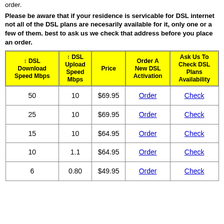order.
Please be aware that if your residence is servicable for DSL internet not all of the DSL plans are necesarily available for it, only one or a few of them. best to ask us we check that address before you place an order.
| ↕ DSL Download Speed Mbps | ↕ DSL Upload Speed Mbps | Price | Order A New DSL Activation | Ask Us To Check DSL Plans Availability |
| --- | --- | --- | --- | --- |
| 50 | 10 | $69.95 | Order | Check |
| 25 | 10 | $69.95 | Order | Check |
| 15 | 10 | $64.95 | Order | Check |
| 10 | 1.1 | $64.95 | Order | Check |
| 6 | 0.80 | $49.95 | Order | Check |